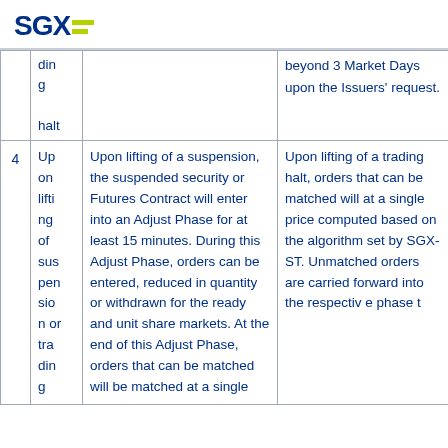SGX
| # | Event | Suspension | Trading Halt |
| --- | --- | --- | --- |
|  | ding
halt |  | beyond 3 Market Days upon the Issuers' request. |
| 4 | Upon lifting of suspension or trading g | Upon lifting of a suspension, the suspended security or Futures Contract will enter into an Adjust Phase for at least 15 minutes. During this Adjust Phase, orders can be entered, reduced in quantity or withdrawn for the ready and unit share markets. At the end of this Adjust Phase, orders that can be matched will be matched at a single | Upon lifting of a trading halt, orders that can be matched will at a single price computed based on the algorithm set by SGX-ST. Unmatched orders are carried forward into the respective phase t |